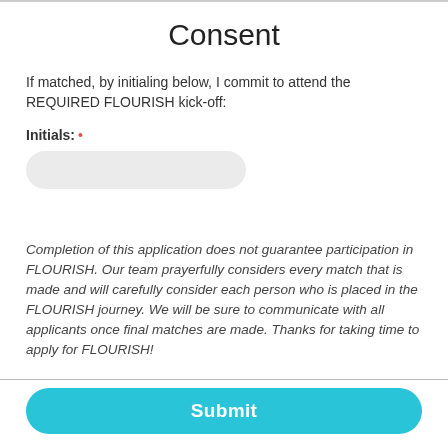Consent
If matched, by initialing below, I commit to attend the REQUIRED FLOURISH kick-off:
Initials: *
Completion of this application does not guarantee participation in FLOURISH. Our team prayerfully considers every match that is made and will carefully consider each person who is placed in the FLOURISH journey. We will be sure to communicate with all applicants once final matches are made. Thanks for taking time to apply for FLOURISH!
Submit